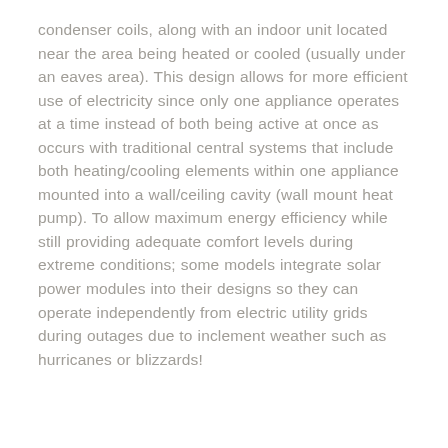condenser coils, along with an indoor unit located near the area being heated or cooled (usually under an eaves area). This design allows for more efficient use of electricity since only one appliance operates at a time instead of both being active at once as occurs with traditional central systems that include both heating/cooling elements within one appliance mounted into a wall/ceiling cavity (wall mount heat pump). To allow maximum energy efficiency while still providing adequate comfort levels during extreme conditions; some models integrate solar power modules into their designs so they can operate independently from electric utility grids during outages due to inclement weather such as hurricanes or blizzards!